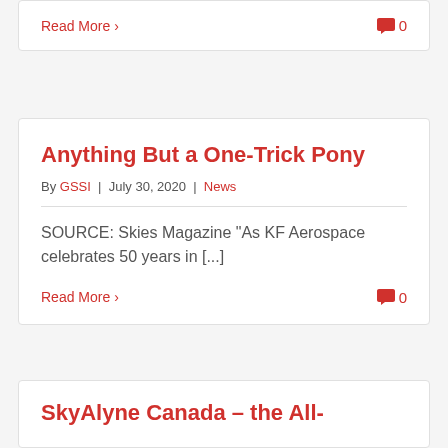Read More > 0
Anything But a One-Trick Pony
By GSSI | July 30, 2020 | News
SOURCE: Skies Magazine "As KF Aerospace celebrates 50 years in [...]
Read More > 0
SkyAlyne Canada – the All-